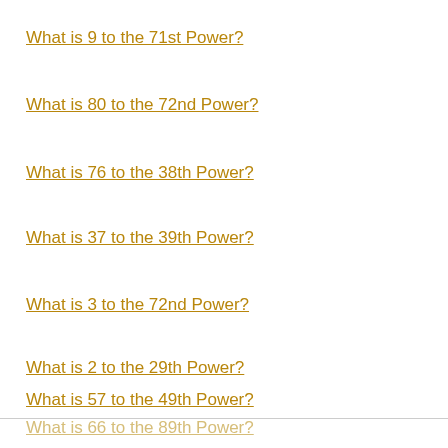What is 9 to the 71st Power?
What is 80 to the 72nd Power?
What is 76 to the 38th Power?
What is 37 to the 39th Power?
What is 3 to the 72nd Power?
What is 2 to the 29th Power?
What is 57 to the 49th Power?
What is 66 to the 89th Power?